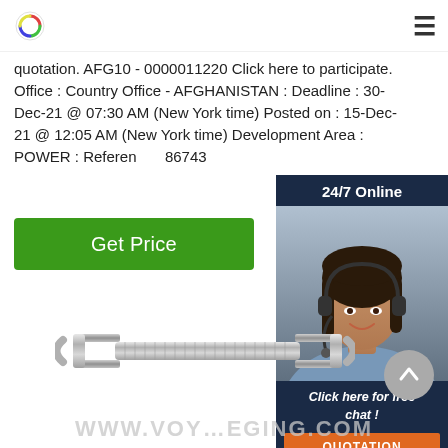quotation. AFG10 - 0000011220 Click here to participate. Office : Country Office - AFGHANISTAN : Deadline : 30-Dec-21 @ 07:30 AM (New York time) Posted on : 15-Dec-21 @ 12:05 AM (New York time) Development Area : POWER : Reference : 86743
Get Price
[Figure (photo): Customer service representative woman with headset, 24/7 Online chat widget overlay with 'Click here for free chat!' and QUOTATION button]
[Figure (photo): Metal turnbuckle/hook product image in silver/chrome finish]
WWW.VOY...EGING.COM